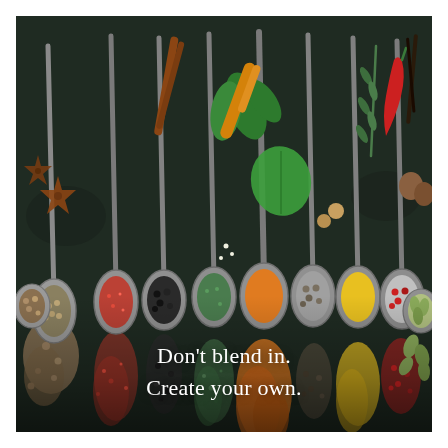[Figure (photo): Overhead photograph of multiple antique silver spoons arranged in a row on a dark slate background, each spoon filled with different colorful spices (red pepper flakes, black pepper, dried herbs, turmeric/curry powder, allspice berries, yellow turmeric, red peppercorns, green cardamom). Surrounding the spoons are loose spices and herbs including star anise, coriander seeds, green leaves, rosemary, cinnamon sticks, turmeric root, chili peppers, and nutmeg. Spice powders spill below each spoon in colorful trails.]
Don't blend in.
Create your own.